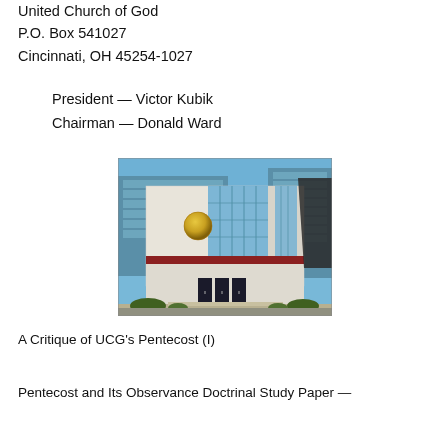United Church of God
P.O. Box 541027
Cincinnati, OH 45254-1027
President — Victor Kubik
Chairman — Donald Ward
[Figure (photo): Photo of United Church of God headquarters building — a modern white and glass multi-story building with a golden globe/sphere on the facade, surrounded by landscaping, under a blue sky.]
A Critique of UCG's Pentecost (I)
Pentecost and Its Observance Doctrinal Study Paper —